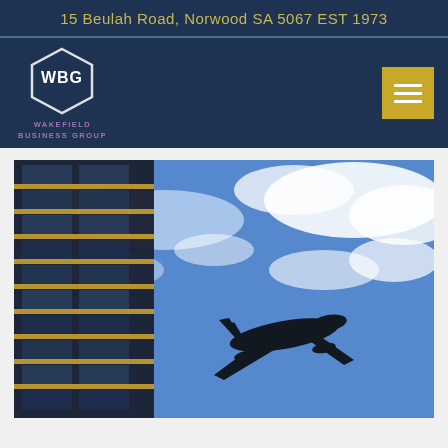15 Beulah Road, Norwood SA 5067 EST 1973
[Figure (logo): Wakefield Business Group hexagon logo with WBG initials and purple text below]
[Figure (photo): Upward view of a glass office building with an airplane silhouette flying overhead against a blue sky with clouds]